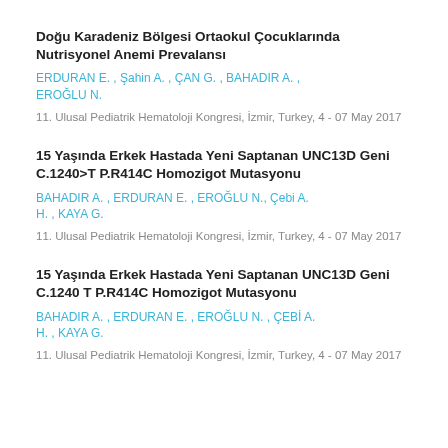Doğu Karadeniz Bölgesi Ortaokul Çocuklarında Nutrisyonel Anemi Prevalansı
ERDURAN E. , Şahin A. , ÇAN G. , BAHADIR A. , EROĞLU N.
11. Ulusal Pediatrik Hematoloji Kongresi, İzmir, Turkey, 4 - 07 May 2017
15 Yaşında Erkek Hastada Yeni Saptanan UNC13D Geni C.1240>T P.R414C Homozigot Mutasyonu
BAHADIR A. , ERDURAN E. , EROĞLU N., Çebi A. H. , KAYA G.
11. Ulusal Pediatrik Hematoloji Kongresi, İzmir, Turkey, 4 - 07 May 2017
15 Yaşında Erkek Hastada Yeni Saptanan UNC13D Geni C.1240 T P.R414C Homozigot Mutasyonu
BAHADIR A. , ERDURAN E. , EROĞLU N. , ÇEBİ A. H. , KAYA G.
11. Ulusal Pediatrik Hematoloji Kongresi, İzmir, Turkey, 4 - 07 May 2017